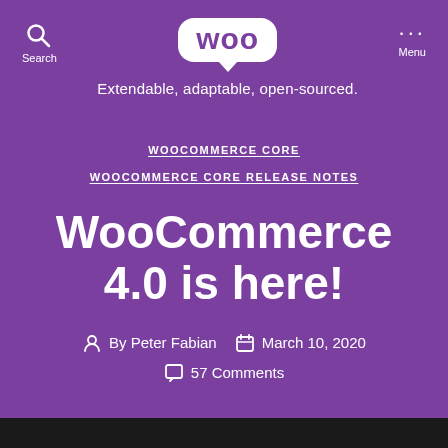[Figure (logo): WooCommerce logo: speech bubble with 'woo' text inside on white background, purple background]
Extendable, adaptable, open-sourced.
WOOCOMMERCE CORE
WOOCOMMERCE CORE RELEASE NOTES
WooCommerce 4.0 is here!
By Peter Fabian   March 10, 2020
57 Comments